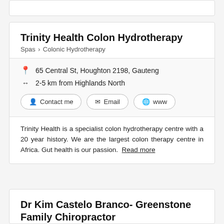Trinity Health Colon Hydrotherapy
Spas > Colonic Hydrotherapy
65 Central St, Houghton 2198, Gauteng
2-5 km from Highlands North
Contact me
Email
www
Trinity Health is a specialist colon hydrotherapy centre with a 20 year history. We are the largest colon therapy centre in Africa. Gut health is our passion. Read more
Dr Kim Castelo Branco- Greenstone Family Chiropractor